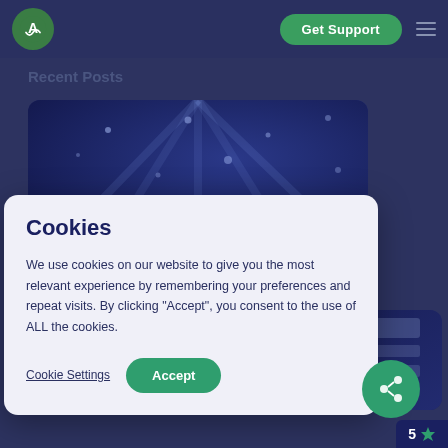[Figure (logo): Logo circle with letter A and road/arrow mark, green background]
Get Support
Recent Posts
[Figure (photo): Dark blue photo of ceiling lights or data center, overlapping rectangular card]
Cookies
We use cookies on our website to give you the most relevant experience by remembering your preferences and repeat visits. By clicking "Accept", you consent to the use of ALL the cookies.
Cookie Settings
Accept